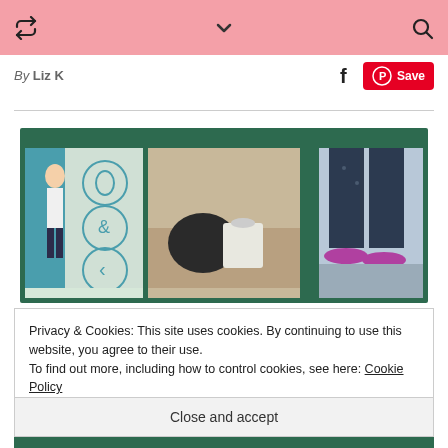Navigation header with retweet, chevron, and search icons
By Liz K
[Figure (screenshot): Blog post image grid with three panels showing fashion/lifestyle photos on dark green background]
Privacy & Cookies: This site uses cookies. By continuing to use this website, you agree to their use. To find out more, including how to control cookies, see here: Cookie Policy
Close and accept